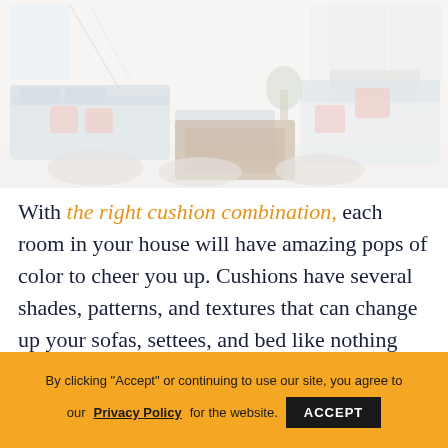[Figure (photo): Faded/washed-out photo of a bright living room interior with light blue sofas, pink accent cushions, a dark wooden coffee table, white walls, a fireplace in the background, and large windows.]
With the right cushion combination, each room in your house will have amazing pops of color to cheer you up. Cushions have several shades, patterns, and textures that can change up your sofas, settees, and bed like nothing else. It may
By clicking "Accept" or continuing to use our site, you agree to our Privacy Policy for the website. ACCEPT